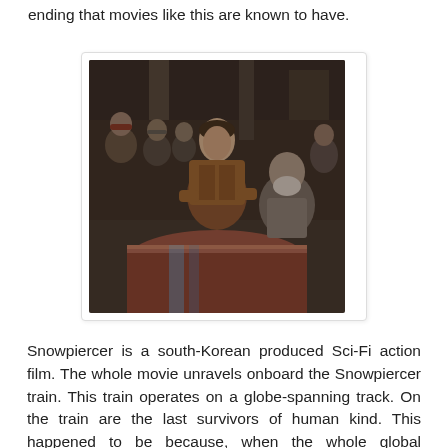ending that movies like this are known to have.
[Figure (photo): A group of dirty, ragged people crowded together in what appears to be a dark, industrial train car setting. A young man in a brown jacket crouches on what looks like a large pipe or machine, surrounded by other weary-looking individuals including an older bearded man seated to the right.]
Snowpiercer is a south-Korean produced Sci-Fi action film. The whole movie unravels onboard the Snowpiercer train. This train operates on a globe-spanning track. On the train are the last survivors of human kind. This happened to be because, when the whole global warming problem was getting out of hand and mankind tried to use science to engineer a solution. The process did not work and made